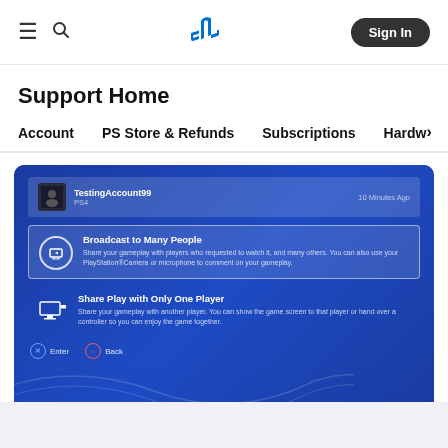PlayStation Support Home — navigation header with hamburger menu, search icon, PlayStation logo, Sign In button
Support Home
Account   PS Store & Refunds   Subscriptions   Hardw>
[Figure (screenshot): PlayStation 4 UI screenshot showing a Share Play menu with two options: 'Broadcast to Many People' (selected, with description about sharing gameplay with players who requested to watch and others, using PS Camera or microphone) and 'Share Play with Only One Player' (with description about sharing gameplay with another player, showing game screen or handing over controller). User 'TestingAccount99' shown on PS4 platform with '10 Minutes Ago' timestamp. Bottom shows X Enter and O Back button prompts.]